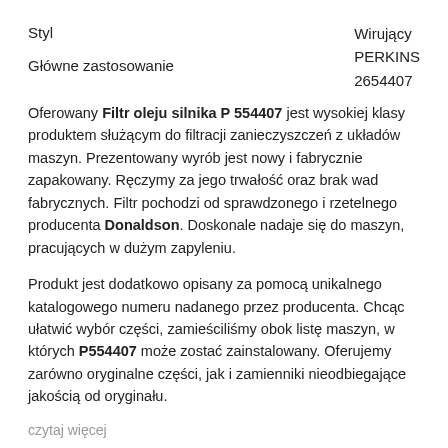Styl
Główne zastosowanie
Wirujący
PERKINS
2654407
Oferowany Filtr oleju silnika P 554407 jest wysokiej klasy produktem służącym do filtracji zanieczyszczeń z układów maszyn. Prezentowany wyrób jest nowy i fabrycznie zapakowany. Ręczymy za jego trwałość oraz brak wad fabrycznych. Filtr pochodzi od sprawdzonego i rzetelnego producenta Donaldson. Doskonale nadaje się do maszyn, pracujących w dużym zapyleniu.
Produkt jest dodatkowo opisany za pomocą unikalnego katalogowego numeru nadanego przez producenta. Chcąc ułatwić wybór części, zamieściliśmy obok listę maszyn, w których P554407 może zostać zainstalowany. Oferujemy zarówno oryginalne części, jak i zamienniki nieodbiegające jakością od oryginału.
czytaj więcej